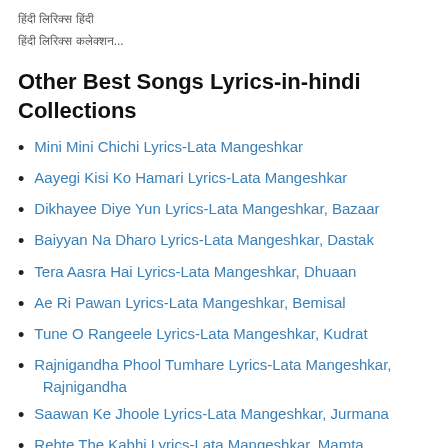हिंदी लिरिक्स हिंदी
हिंदी लिरिक्स कलेक्शन...
Other Best Songs Lyrics-in-hindi Collections
Mini Mini Chichi Lyrics-Lata Mangeshkar
Aayegi Kisi Ko Hamari Lyrics-Lata Mangeshkar
Dikhayee Diye Yun Lyrics-Lata Mangeshkar, Bazaar
Baiyyan Na Dharo Lyrics-Lata Mangeshkar, Dastak
Tera Aasra Hai Lyrics-Lata Mangeshkar, Dhuaan
Ae Ri Pawan Lyrics-Lata Mangeshkar, Bemisal
Tune O Rangeele Lyrics-Lata Mangeshkar, Kudrat
Rajnigandha Phool Tumhare Lyrics-Lata Mangeshkar, Rajnigandha
Saawan Ke Jhoole Lyrics-Lata Mangeshkar, Jurmana
Rehte The Kabhi Lyrics-Lata Mangeshkar, Mamta